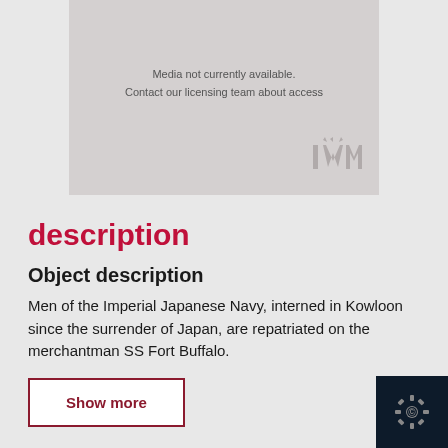[Figure (other): Media placeholder with IWM logo. Text reads: 'Media not currently available. Contact our licensing team about access']
description
Object description
Men of the Imperial Japanese Navy, interned in Kowloon since the surrender of Japan, are repatriated on the merchantman SS Fort Buffalo.
Show more